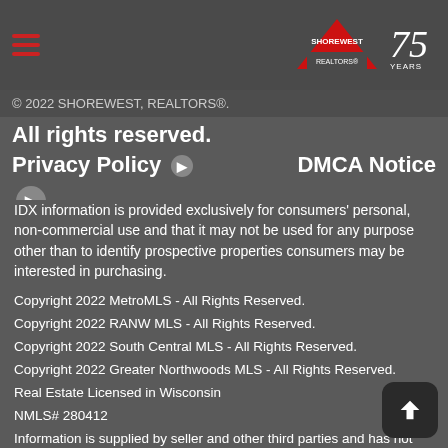Shorewest Realtors logo with 75 Years badge and hamburger menu
© 2022 SHOREWEST, REALTORS®.
All rights reserved.    Privacy Policy ▶    DMCA Notice ▶
IDX information is provided exclusively for consumers' personal, non-commercial use and that it may not be used for any purpose other than to identify prospective properties consumers may be interested in purchasing.
Copyright 2022 MetroMLS - All Rights Reserved.
Copyright 2022 RANW MLS - All Rights Reserved.
Copyright 2022 South Central MLS - All Rights Reserved.
Copyright 2022 Greater Northwoods MLS - All Rights Reserved.
Real Estate Licensed in Wisconsin
NMLS# 280412
Information is supplied by seller and other third parties and has not been verified
Difficulty using this site? Contact